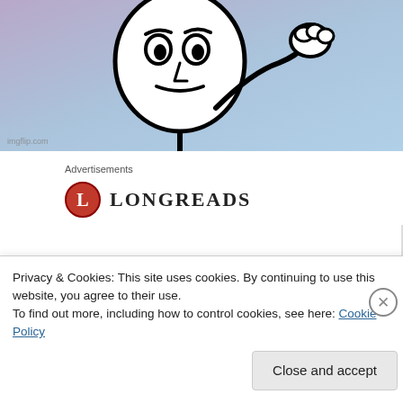[Figure (illustration): A stick figure meme character with an angry/skeptical expression, raised fist, against a blue-purple gradient background. Small imgflip.com watermark in bottom left.]
Advertisements
[Figure (logo): Longreads logo: red circle with white 'L' letter followed by LONGREADS text in bold serif font]
Privacy & Cookies: This site uses cookies. By continuing to use this website, you agree to their use.
To find out more, including how to control cookies, see here: Cookie Policy
Close and accept